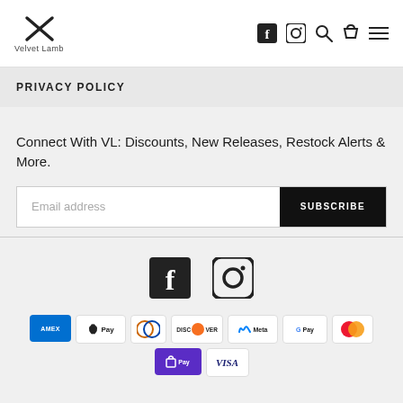Velvet Lamb — navigation with Facebook, Instagram, Search, Cart, Menu icons
PRIVACY POLICY
Connect With VL: Discounts, New Releases, Restock Alerts & More.
Email address  SUBSCRIBE
[Figure (logo): Footer social icons: Facebook and Instagram]
[Figure (infographic): Payment method logos: American Express, Apple Pay, Diners Club, Discover, Meta Pay, Google Pay, Mastercard, Shop Pay, Visa]